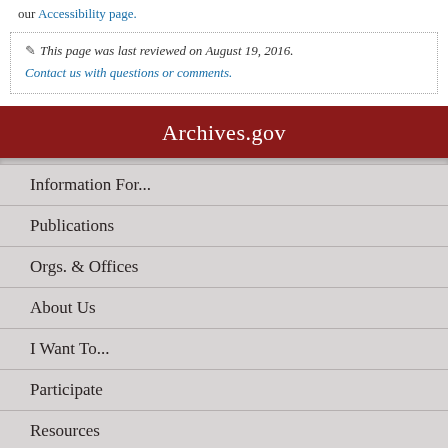our Accessibility page.
This page was last reviewed on August 19, 2016.
Contact us with questions or comments.
Archives.gov
Information For...
Publications
Orgs. & Offices
About Us
I Want To...
Participate
Resources
Shop Online